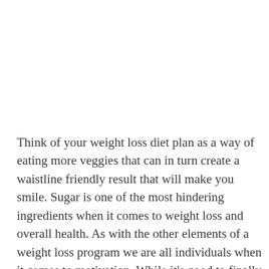Think of your weight loss diet plan as a way of eating more veggies that can in turn create a waistline friendly result that will make you smile. Sugar is one of the most hindering ingredients when it comes to weight loss and overall health. As with the other elements of a weight loss program we are all individuals when it comes to motivation. While it's good to finally be aware of the seriousness of weight loss, it's equally important to do your research, so that you don't end up with a program that